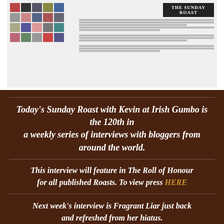[Figure (screenshot): Screenshot of a blog page showing The Sunday Roast interview, with a grid of thumbnail photos on the left and text content on the right including a dark banner reading 'THE SUNDAY ROAST']
Today's Sunday Roast with Kevin at Irish Gumbo is the 120th in a weekly series of interviews with bloggers from around the world.
This interview will feature in The Roll of Honour for all published Roasts. To view press HERE
Next week's interview is Fragrant Liar just back and refreshed from her hiatus.